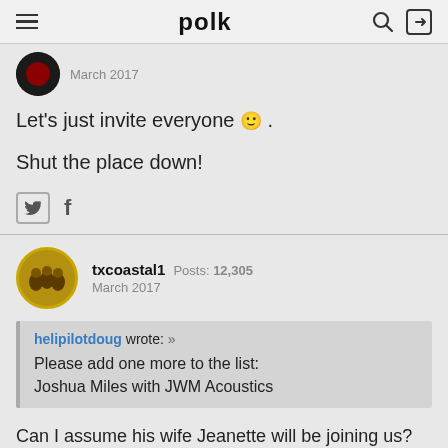polk
March 2017
Let's just invite everyone 🙂 .
Shut the place down!
txcoastal1  Posts: 12,305
March 2017
helipilotdoug wrote: »
Please add one more to the list:
Joshua Miles with JWM Acoustics
Can I assume his wife Jeanette will be joining us?